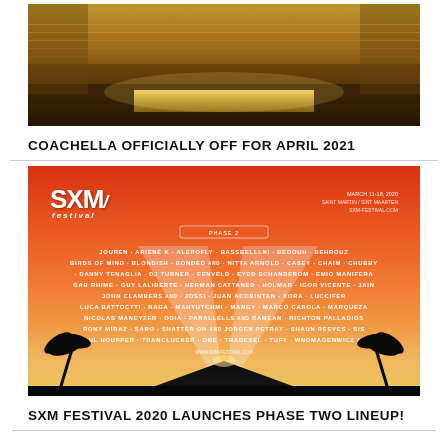[Figure (photo): Aerial view of massive Coachella festival crowd with stage area visible]
COACHELLA OFFICIALLY OFF FOR APRIL 2021
[Figure (photo): SXM Festival 2020 lineup poster with red-orange gradient background, pyramid silhouette, and artist names]
SXM FESTIVAL 2020 LAUNCHES PHASE TWO LINEUP!